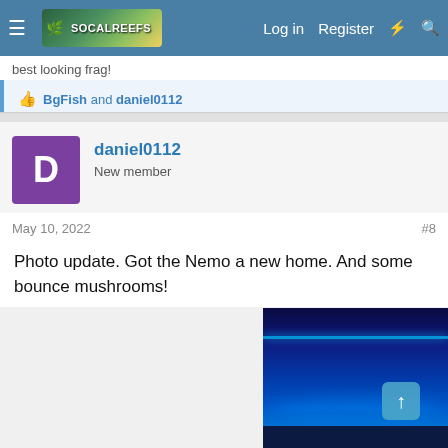SocalReefs forum navigation bar with Log in, Register links
best looking frag!
👍 BgFish and daniel0112
daniel0112
New member
May 10, 2022
#8
Photo update. Got the Nemo a new home. And some bounce mushrooms!
[Figure (photo): Aquarium photo with blue lighting, showing a tank with dark water and blue LED lighting, with a scroll-up button visible]